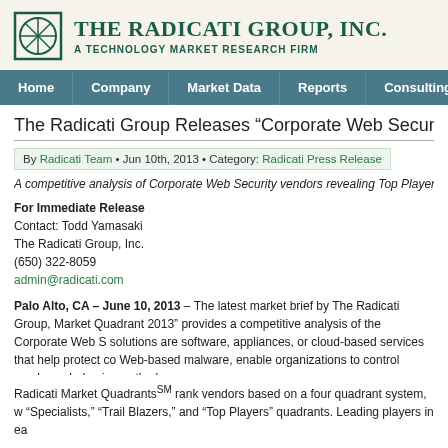[Figure (logo): The Radicati Group, Inc. logo with circular wheel icon and text 'THE RADICATI GROUP, INC. A TECHNOLOGY MARKET RESEARCH FIRM']
Home | Company | Market Data | Reports | Consulting
The Radicati Group Releases “Corporate Web Security – M
By Radicati Team • Jun 10th, 2013 • Category: Radicati Press Release
A competitive analysis of Corporate Web Security vendors revealing Top Players
For Immediate Release
Contact: Todd Yamasaki
The Radicati Group, Inc.
(650) 322-8059
admin@radicati.com
Palo Alto, CA – June 10, 2013 – The latest market brief by The Radicati Group, Market Quadrant 2013” provides a competitive analysis of the Corporate Web S solutions are software, appliances, or cloud-based services that help protect co Web-based malware, enable organizations to control employee behavior on the loss.
Radicati Market QuadrantsSM rank vendors based on a four quadrant system, w “Specialists,” “Trail Blazers,” and “Top Players” quadrants. Leading players in ea